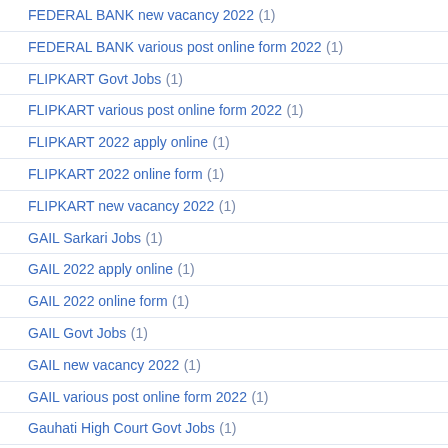FEDERAL BANK new vacancy 2022 (1)
FEDERAL BANK various post online form 2022 (1)
FLIPKART Govt Jobs (1)
FLIPKART various post online form 2022 (1)
FLIPKART 2022 apply online (1)
FLIPKART 2022 online form (1)
FLIPKART new vacancy 2022 (1)
GAIL Sarkari Jobs (1)
GAIL 2022 apply online (1)
GAIL 2022 online form (1)
GAIL Govt Jobs (1)
GAIL new vacancy 2022 (1)
GAIL various post online form 2022 (1)
Gauhati High Court Govt Jobs (1)
Gauhati High Court various post online form 2022 (1)
Gauhati High Court2022 online form (1)